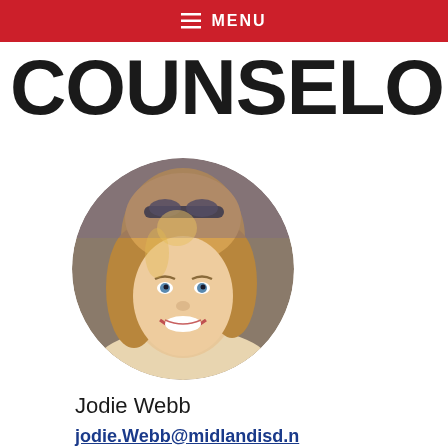≡ MENU
COUNSELOR
[Figure (photo): Circular profile photo of Jodie Webb, a woman with curly blonde hair and sunglasses on her head, smiling at the camera.]
Jodie Webb
jodie.Webb@midlandisd.n